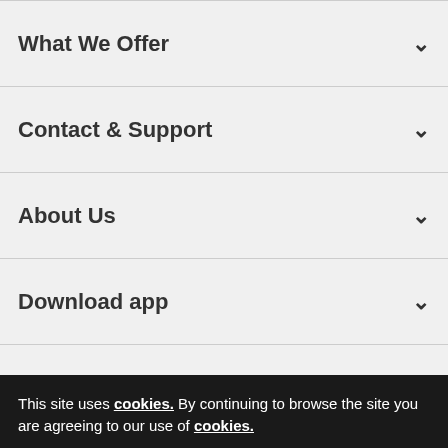What We Offer
Contact & Support
About Us
Download app
This site uses cookies. By continuing to browse the site you are agreeing to our use of cookies.
Agree and close
Reject all cookies
Cookie Settings